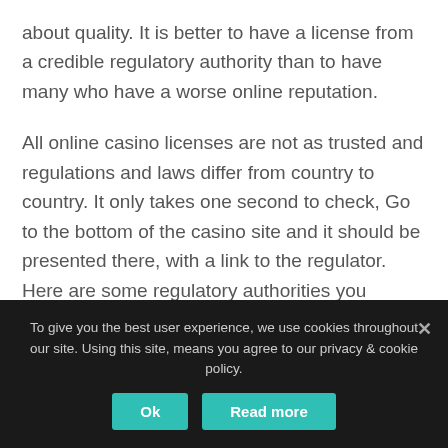about quality. It is better to have a license from a credible regulatory authority than to have many who have a worse online reputation.
All online casino licenses are not as trusted and regulations and laws differ from country to country. It only takes one second to check, Go to the bottom of the casino site and it should be presented there, with a link to the regulator. Here are some regulatory authorities you should look for:
Malta Gaming Authority (MGA)
To give you the best user experience, we use cookies throughout our site. Using this site, means you agree to our privacy & cookie policy.